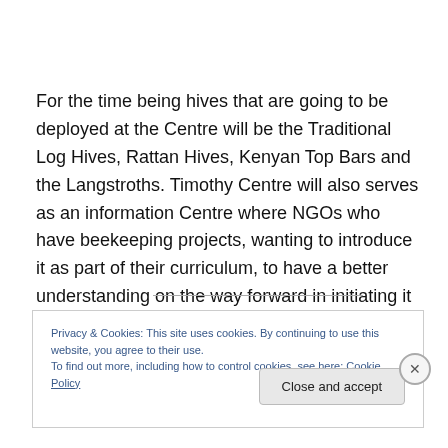For the time being hives that are going to be deployed at the Centre will be the Traditional Log Hives, Rattan Hives, Kenyan Top Bars and the Langstroths. Timothy Centre will also serves as an information Centre where NGOs who have beekeeping projects, wanting to introduce it as part of their curriculum, to have a better understanding on the way forward in initiating it to their farmers.
Privacy & Cookies: This site uses cookies. By continuing to use this website, you agree to their use. To find out more, including how to control cookies, see here: Cookie Policy